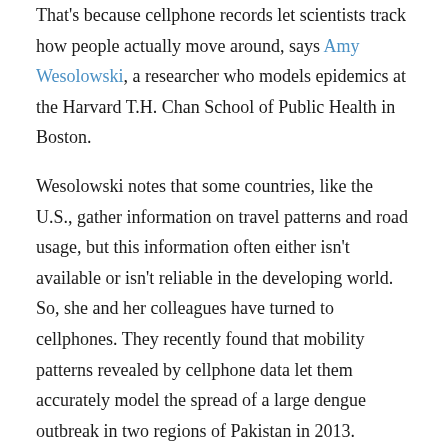That's because cellphone records let scientists track how people actually move around, says Amy Wesolowski, a researcher who models epidemics at the Harvard T.H. Chan School of Public Health in Boston.
Wesolowski notes that some countries, like the U.S., gather information on travel patterns and road usage, but this information often either isn't available or isn't reliable in the developing world. So, she and her colleagues have turned to cellphones. They recently found that mobility patterns revealed by cellphone data let them accurately model the spread of a large dengue outbreak in two regions of Pakistan in 2013.
"It's an emerging infectious disease in Pakistan," says Wesolowski. "Southern Pakistan, near Karachi, has had dengue outbreaks for many years. But in northern Pakistan